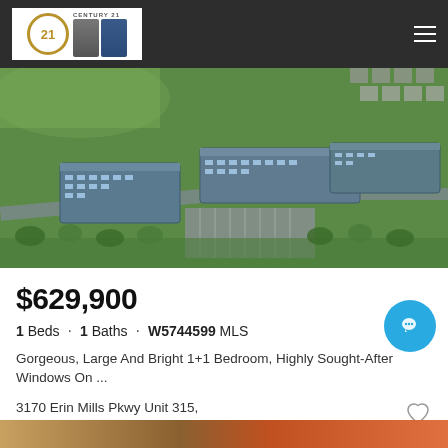Century 21 — navigation bar with logo and hamburger menu
[Figure (photo): Aerial drone photo of a modern multi-building condominium complex surrounded by greenery and roads in Mississauga]
$629,900
1 Beds · 1 Baths · W5744599 MLS
Gorgeous, Large And Bright 1+1 Bedroom, Highly Sought-After Windows On ...
3170 Erin Mills Pkwy Unit 315, Mississauga
Listing courtesy of ROYAL LEPAGE SIGNATURE REALTY, BROKERA...